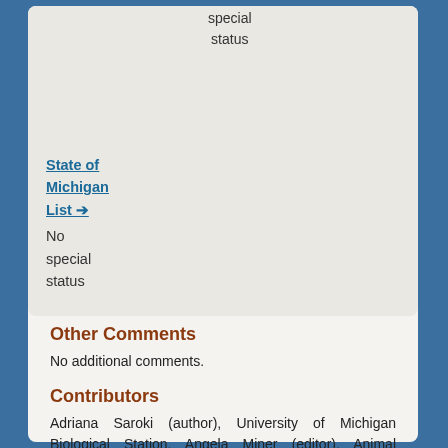| special
status |
| State of Michigan List → | No special status |
Other Comments
No additional comments.
Contributors
Adriana Saroki (author), University of Michigan Biological Station, Angela Miner (editor), Animal Diversity Web